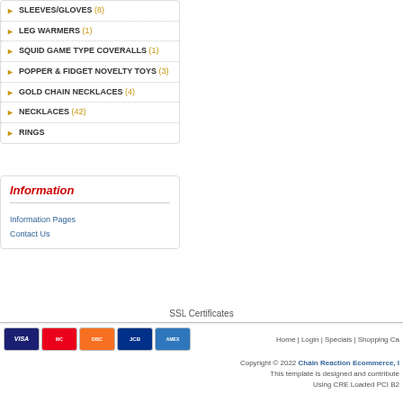SLEEVES/GLOVES (8)
LEG WARMERS (1)
SQUID GAME TYPE COVERALLS (1)
POPPER & FIDGET NOVELTY TOYS (3)
GOLD CHAIN NECKLACES (4)
NECKLACES (42)
RINGS
Information
Information Pages
Contact Us
SSL Certificates
Home | Login | Specials | Shopping Ca...
Copyright © 2022 Chain Reaction Ecommerce, I... This template is designed and contribute... Using CRE Loaded PCI B2...